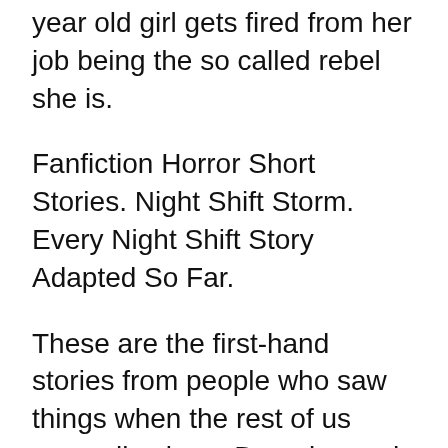year old girl gets fired from her job being the so called rebel she is.
Fanfiction Horror Short Stories. Night Shift Storm. Every Night Shift Story Adapted So Far.
These are the first-hand stories from people who saw things when the rest of us were all asleep. Do enjoy and leave a. One of the most resonant and affecting stories in this book is The Last Rung on the Ladder A gem.
Midnight At A Swanky Hotel. Ive been a security guard for about seven years now and havent encountered anything unusual while on the night shift. All names etc have been changes or removed to protect patient